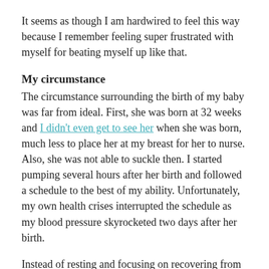It seems as though I am hardwired to feel this way because I remember feeling super frustrated with myself for beating myself up like that.
My circumstance
The circumstance surrounding the birth of my baby was far from ideal. First, she was born at 32 weeks and I didn't even get to see her when she was born, much less to place her at my breast for her to nurse. Also, she was not able to suckle then. I started pumping several hours after her birth and followed a schedule to the best of my ability. Unfortunately, my own health crises interrupted the schedule as my blood pressure skyrocketed two days after her birth.
Instead of resting and focusing on recovering from the surgery, I was also under tremendous amount of stress and shock as I confronted the reality and implication of my daughter's prematurity. We didn't have much support as none of our family members could come and help out. This